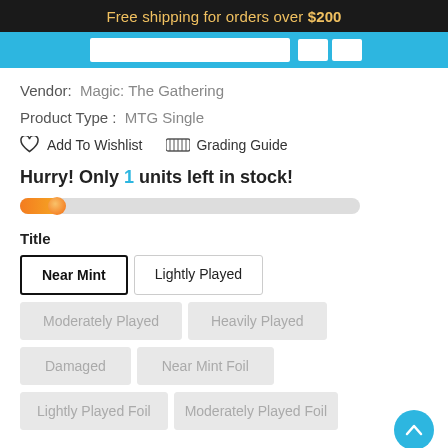Free shipping for orders over $200
Vendor: Magic: The Gathering
Product Type: MTG Single
Add To Wishlist   Grading Guide
Hurry! Only 1 units left in stock!
Title
Near Mint
Lightly Played
Moderately Played
Heavily Played
Damaged
Near Mint Foil
Lightly Played Foil
Moderately Played Foil